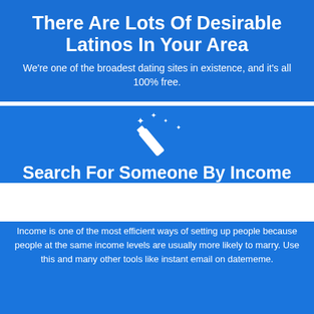There Are Lots Of Desirable Latinos In Your Area
We're one of the broadest dating sites in existence, and it's all 100% free.
[Figure (illustration): White magic wand icon with sparkle stars]
Search For Someone By Income
Income is one of the most efficient ways of setting up people because people at the same income levels are usually more likely to marry. Use this and many other tools like instant email on datememe.